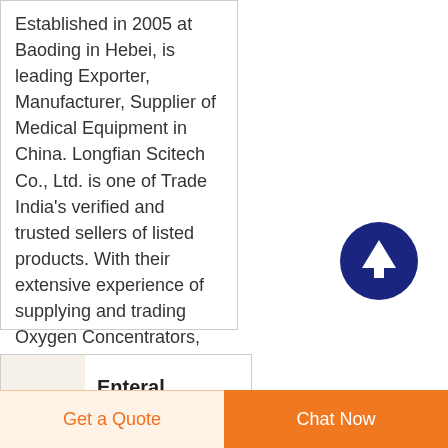Established in 2005 at Baoding in Hebei, is leading Exporter, Manufacturer, Supplier of Medical Equipment in China. Longfian Scitech Co., Ltd. is one of Trade India's verified and trusted sellers of listed products. With their extensive experience of supplying and trading Oxygen Concentrators, Longfian Scitech Co., Ltd. has made a reputed name for themselves in the
[Figure (other): Dark blue circular button with an upward-pointing white arrow, used as a scroll-to-top navigation element]
[Figure (photo): Small product thumbnail image showing enteral feeding related product]
Enteral Feeding...
Get a Quote
Chat Now